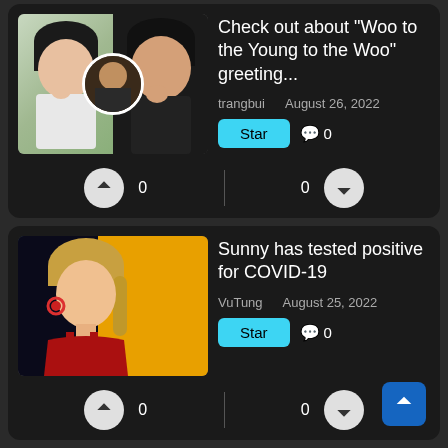[Figure (photo): Two women with short black hair doing a gesture, with a circular inset photo of a man]
Check out about “Woo to the Young to the Woo” greeting...
trangbui
August 26, 2022
Star
0
0
0
[Figure (photo): Blonde woman in red dress with yellow car background]
Sunny has tested positive for COVID-19
VuTung
August 25, 2022
Star
0
0
0